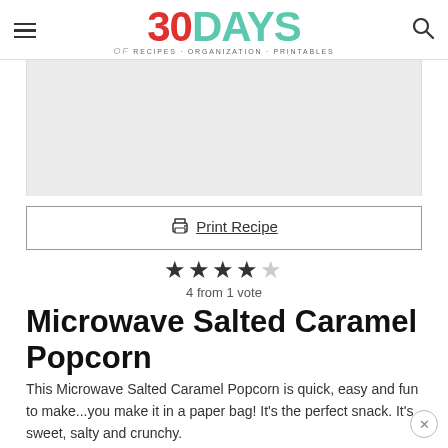30DAYS of Recipes · Organization · Printables
[Figure (other): Advertisement placeholder block (gray area)]
Print Recipe
4 from 1 vote
Microwave Salted Caramel Popcorn
This Microwave Salted Caramel Popcorn is quick, easy and fun to make...you make it in a paper bag! It's the perfect snack. It's sweet, salty and crunchy.